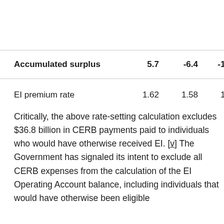|  |  |  |  |  |
| --- | --- | --- | --- | --- |
| Accumulated surplus | 5.7 | -6.4 | -17.3 | -19.0 | -1… |
| EI premium rate | 1.62 | 1.58 | 1.58 | 1.58 |
Critically, the above rate-setting calculation excludes $36.8 billion in CERB payments paid to individuals who would have otherwise received EI. [v] The Government has signaled its intent to exclude all CERB expenses from the calculation of the EI Operating Account balance, including individuals that would have otherwise been eligible